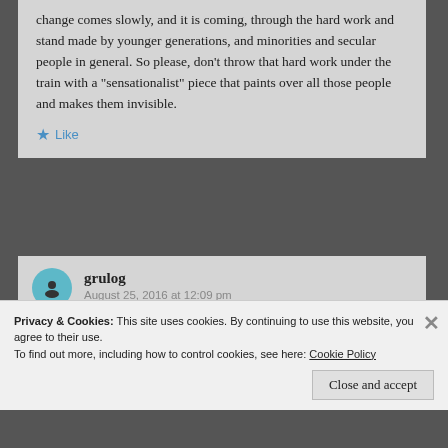change comes slowly, and it is coming, through the hard work and stand made by younger generations, and minorities and secular people in general. So please, don't throw that hard work under the train with a “sensationalist” piece that paints over all those people and makes them invisible.
Like
grulog
August 25, 2016 at 12:09 pm
fair enough – honestly i think answers with the
Privacy & Cookies: This site uses cookies. By continuing to use this website, you agree to their use.
To find out more, including how to control cookies, see here: Cookie Policy
Close and accept